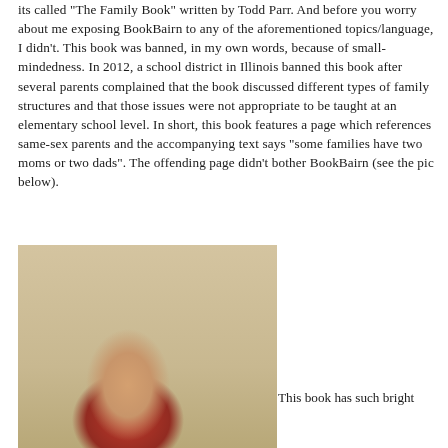its called "The Family Book" written by Todd Parr. And before you worry about me exposing BookBairn to any of the aforementioned topics/language, I didn't. This book was banned, in my own words, because of small-mindedness. In 2012, a school district in Illinois banned this book after several parents complained that the book discussed different types of family structures and that those issues were not appropriate to be taught at an elementary school level. In short, this book features a page which references same-sex parents and the accompanying text says "some families have two moms or two dads". The offending page didn't bother BookBairn (see the pic below).
[Figure (photo): A baby in a red striped outfit doing tummy time on the floor, with colorful toys and a play mat visible in the background.]
This book has such bright